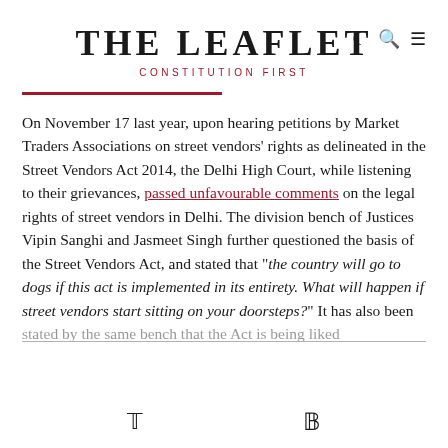THE LEAFLET
CONSTITUTION FIRST
On November 17 last year, upon hearing petitions by Market Traders Associations on street vendors' rights as delineated in the Street Vendors Act 2014, the Delhi High Court, while listening to their grievances, passed unfavourable comments on the legal rights of street vendors in Delhi. The division bench of Justices Vipin Sanghi and Jasmeet Singh further questioned the basis of the Street Vendors Act, and stated that “the country will go to dogs if this act is implemented in its entirety. What will happen if street vendors start sitting on your doorsteps?” It has also been stated by the same bench that the Act is being liked...